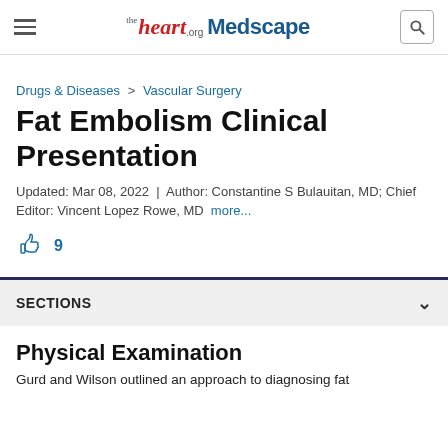the heart.org Medscape
Drugs & Diseases > Vascular Surgery
Fat Embolism Clinical Presentation
Updated: Mar 08, 2022 | Author: Constantine S Bulauitan, MD; Chief Editor: Vincent Lopez Rowe, MD more...
9
SECTIONS
Physical Examination
Gurd and Wilson outlined an approach to diagnosing fat